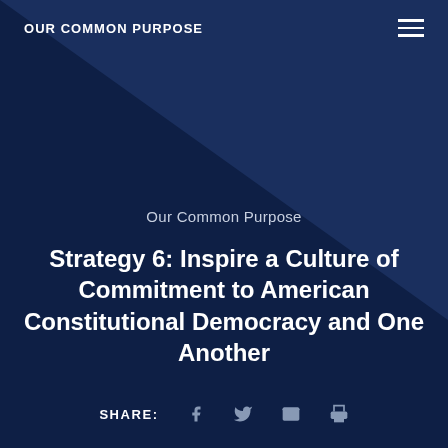OUR COMMON PURPOSE
Our Common Purpose
Strategy 6: Inspire a Culture of Commitment to American Constitutional Democracy and One Another
SHARE: